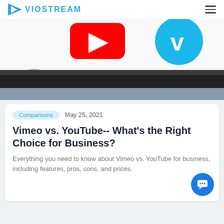VIOSTREAM
[Figure (photo): Laptop screen showing YouTube logo (red play button) and Vimeo logo (blue circle with V) side by side]
Comparisons   May 25, 2021
Vimeo vs. YouTube-- What's the Right Choice for Business?
Everything you need to know about Vimeo vs. YouTube for business, including features, pros, cons, and prices.